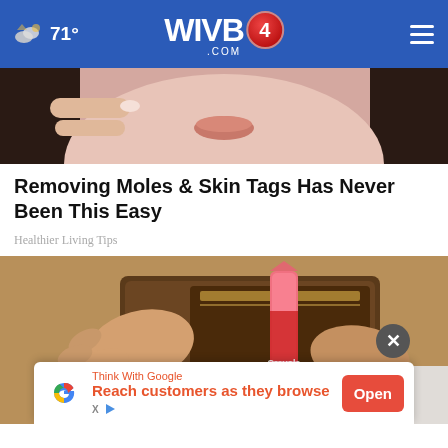71° WIVB4.COM
[Figure (photo): Close-up photo of a woman's face near her chin/lips area, holding something near her skin, dark hair visible]
Removing Moles & Skin Tags Has Never Been This Easy
Healthier Living Tips
[Figure (photo): Hands holding a brown leather wallet with a Crayola crayon being inserted into it]
[Figure (infographic): Google advertisement banner: Think With Google - Reach customers as they browse - Open button]